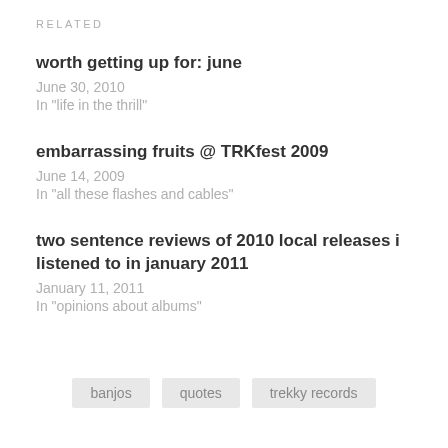RELATED
worth getting up for: june
June 30, 2010
In "life in the thrill"
embarrassing fruits @ TRKfest 2009
June 14, 2009
In "all these flashes and cables"
two sentence reviews of 2010 local releases i listened to in january 2011
January 11, 2011
In "opinions about albums"
banjos   quotes   trekky records